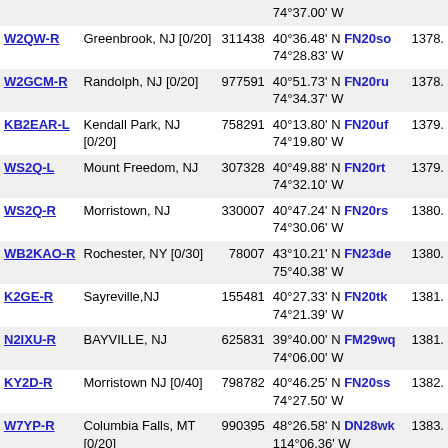| Callsign | Location | ID | Coordinates | Grid | Dist |
| --- | --- | --- | --- | --- | --- |
|  |  |  | 74°37.00' W |  |  |
| W2QW-R | Greenbrook, NJ [0/20] | 311438 | 40°36.48' N 74°28.83' W | FN20so | 1378. |
| W2GCM-R | Randolph, NJ [0/20] | 977591 | 40°51.73' N 74°34.37' W | FN20ru | 1378. |
| KB2EAR-L | Kendall Park, NJ [0/20] | 758291 | 40°13.80' N 74°19.80' W | FN20uf | 1379. |
| WS2Q-L | Mount Freedom, NJ | 307328 | 40°49.88' N 74°32.10' W | FN20rt | 1379. |
| WS2Q-R | Morristown, NJ | 330007 | 40°47.24' N 74°30.06' W | FN20rs | 1380. |
| WB2KAO-R | Rochester, NY [0/30] | 78007 | 43°10.21' N 75°40.38' W | FN23de | 1380. |
| K2GE-R | Sayreville,NJ | 155481 | 40°27.33' N 74°21.39' W | FN20tk | 1381. |
| N2IXU-R | BAYVILLE, NJ | 625831 | 39°40.00' N 74°06.00' W | FM29wq | 1381. |
| KY2D-R | Morristown NJ [0/40] | 798782 | 40°46.25' N 74°27.50' W | FN20ss | 1382. |
| W7YP-R | Columbia Falls, MT [0/20] | 990395 | 48°26.58' N 114°06.36' W | DN28wk | 1383. |
| KC4QLP-L | 29.500mhz *KC4QLP* | 56704 | 42°05.23' N 74°59.71' W | FN22mc | 1384. |
| VA3NKP-R | Kapuskasing | 524524 | 49°24.52' N 82°24.27' W | EN89tj | 1384. |
| NO2EL-L | Whippany, NJ USA 07981 | 199710 | 40°48.43' N 74°25.47' W | FN20st | 1384. |